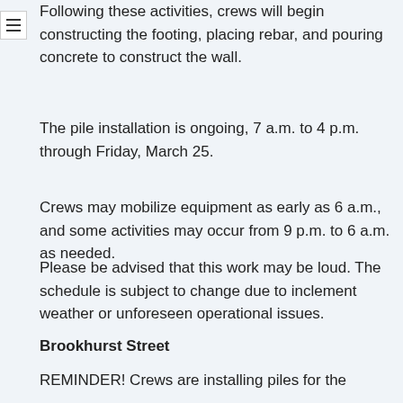Following these activities, crews will begin constructing the footing, placing rebar, and pouring concrete to construct the wall.
The pile installation is ongoing, 7 a.m. to 4 p.m. through Friday, March 25.
Crews may mobilize equipment as early as 6 a.m., and some activities may occur from 9 p.m. to 6 a.m. as needed.
Please be advised that this work may be loud. The schedule is subject to change due to inclement weather or unforeseen operational issues.
Brookhurst Street
REMINDER! Crews are installing piles for the